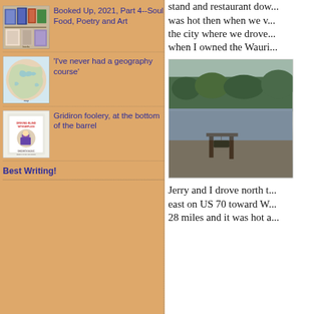Booked Up, 2021, Part 4--Soul Food, Poetry and Art
'I've never had a geography course'
Gridiron foolery, at the bottom of the barrel
Best Writing!
stand and restaurant dow... was hot then when we v... the city where we drove... when I owned the Wauri...
[Figure (photo): Outdoor waterway scene with dock, boats, and vegetation in background]
Jerry and I drove north t... east on US 70 toward W... 28 miles and it was hot a...